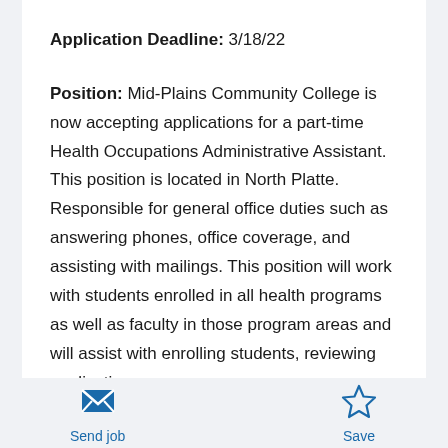Application Deadline: 3/18/22
Position: Mid-Plains Community College is now accepting applications for a part-time Health Occupations Administrative Assistant. This position is located in North Platte. Responsible for general office duties such as answering phones, office coverage, and assisting with mailings. This position will work with students enrolled in all health programs as well as faculty in those program areas and will assist with enrolling students, reviewing application
[Figure (illustration): Envelope icon for Send job action]
Send job
[Figure (illustration): Star outline icon for Save action]
Save